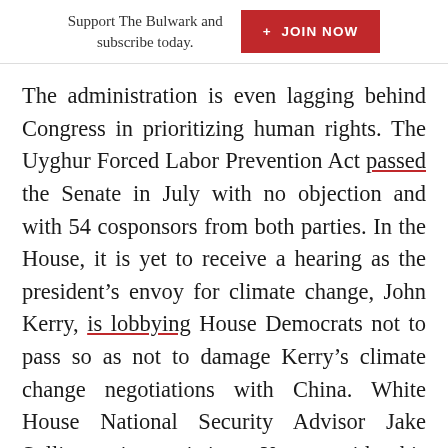Support The Bulwark and subscribe today. + JOIN NOW
The administration is even lagging behind Congress in prioritizing human rights. The Uyghur Forced Labor Prevention Act passed the Senate in July with no objection and with 54 cosponsors from both parties. In the House, it is yet to receive a hearing as the president’s envoy for climate change, John Kerry, is lobbying House Democrats not to pass so as not to damage Kerry’s climate change negotiations with China. White House National Security Advisor Jake Sullivan is assisting Kerry with his campaign to block the bill, despite his past enthusiasm for policies extremely similar to what the Senate passed.